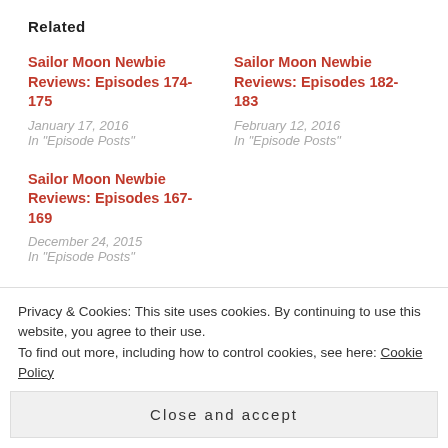Related
Sailor Moon Newbie Reviews: Episodes 174-175
January 17, 2016
In "Episode Posts"
Sailor Moon Newbie Reviews: Episodes 182-183
February 12, 2016
In "Episode Posts"
Sailor Moon Newbie Reviews: Episodes 167-169
December 24, 2015
In "Episode Posts"
APRIL 1, 2016
JOSEI NEXT DOOR
Privacy & Cookies: This site uses cookies. By continuing to use this website, you agree to their use.
To find out more, including how to control cookies, see here: Cookie Policy
Close and accept